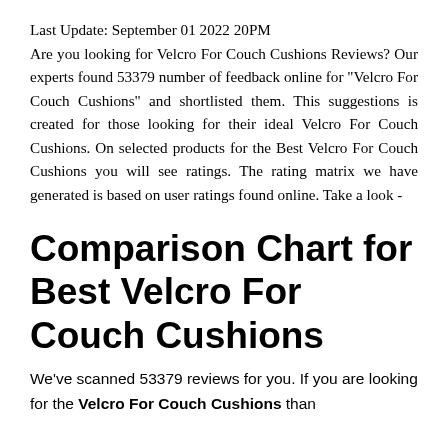Last Update: September 01 2022 20PM
Are you looking for Velcro For Couch Cushions Reviews? Our experts found 53379 number of feedback online for "Velcro For Couch Cushions" and shortlisted them. This suggestions is created for those looking for their ideal Velcro For Couch Cushions. On selected products for the Best Velcro For Couch Cushions you will see ratings. The rating matrix we have generated is based on user ratings found online. Take a look -
Comparison Chart for Best Velcro For Couch Cushions
We've scanned 53379 reviews for you. If you are looking for the Velcro For Couch Cushions than